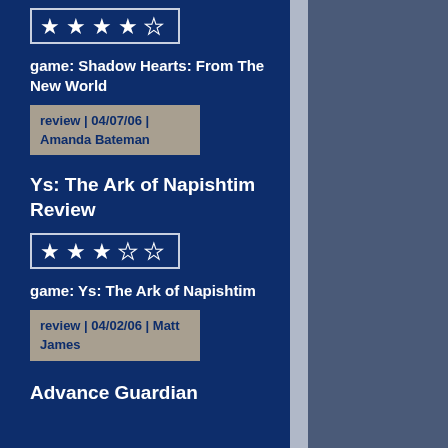[Figure (other): Star rating: 4 out of 5 filled stars]
game: Shadow Hearts: From The New World
review | 04/07/06 | Amanda Bateman
Ys: The Ark of Napishtim Review
[Figure (other): Star rating: 3 out of 5 filled stars]
game: Ys: The Ark of Napishtim
review | 04/02/06 | Matt James
Advance Guardian